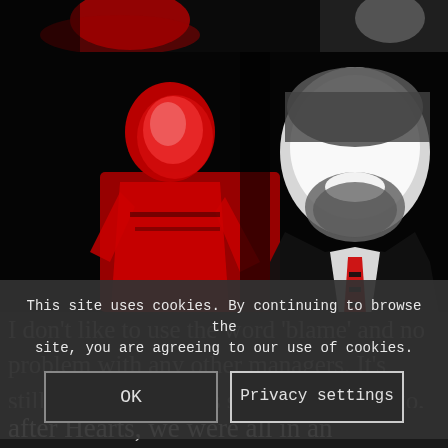[Figure (photo): Top strip: partial view of football/soccer imagery in red, white and black stylized tones]
[Figure (photo): Main large image: stylized red, white and black graphic of a football player on the left and a smiling bearded man in suit with striped tie on the right, against a black background]
I don't like to use the word 'blame' and no problem with any other managers. It's still very early in the season, a week ago, after Hearts, we were all in an
This site uses cookies. By continuing to browse the site, you are agreeing to our use of cookies.
OK
Privacy settings